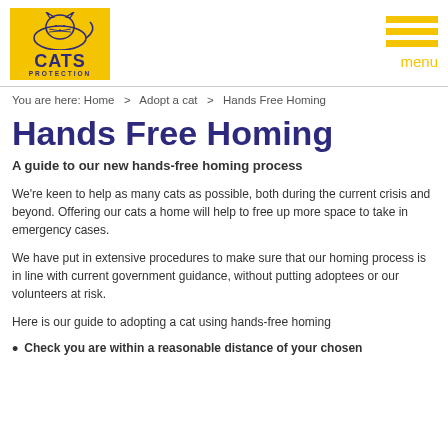Cats Protection logo and menu
You are here: Home > Adopt a cat > Hands Free Homing
Hands Free Homing
A guide to our new hands-free homing process
We're keen to help as many cats as possible, both during the current crisis and beyond. Offering our cats a home will help to free up more space to take in emergency cases.
We have put in extensive procedures to make sure that our homing process is in line with current government guidance, without putting adoptees or our volunteers at risk.
Here is our guide to adopting a cat using hands-free homing
Check you are within a reasonable distance of your chosen